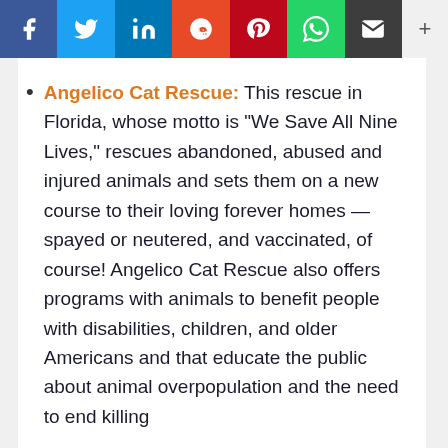[Figure (other): Social media share bar with icons for Facebook, Twitter, LinkedIn, Reddit, Pinterest, WhatsApp, Email, and a plus button]
Angelico Cat Rescue: This rescue in Florida, whose motto is “We Save All Nine Lives,” rescues abandoned, abused and injured animals and sets them on a new course to their loving forever homes — spayed or neutered, and vaccinated, of course! Angelico Cat Rescue also offers programs with animals to benefit people with disabilities, children, and older Americans and that educate the public about animal overpopulation and the need to end killing